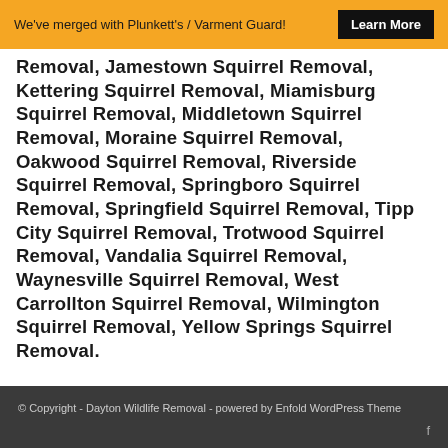We've merged with Plunkett's / Varment Guard! Learn More
Removal, Jamestown Squirrel Removal, Kettering Squirrel Removal, Miamisburg Squirrel Removal, Middletown Squirrel Removal, Moraine Squirrel Removal, Oakwood Squirrel Removal, Riverside Squirrel Removal, Springboro Squirrel Removal, Springfield Squirrel Removal, Tipp City Squirrel Removal, Trotwood Squirrel Removal, Vandalia Squirrel Removal, Waynesville Squirrel Removal, West Carrollton Squirrel Removal, Wilmington Squirrel Removal, Yellow Springs Squirrel Removal.
© Copyright - Dayton Wildlife Removal - powered by Enfold WordPress Theme